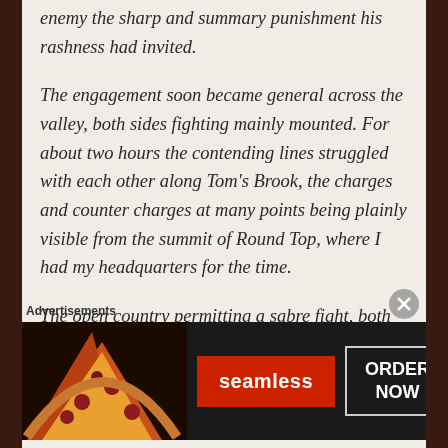enemy the sharp and summary punishment his rashness had invited.

The engagement soon became general across the valley, both sides fighting mainly mounted. For about two hours the contending lines struggled with each other along Tom's Brook, the charges and counter charges at many points being plainly visible from the summit of Round Top, where I had my headquarters for the time.

The open country permitting a sabre fight, both sides seemed bent on using
Advertisements
[Figure (other): Seamless food delivery advertisement banner showing pizza image on left, red Seamless logo in center, and ORDER NOW button on right against dark background]